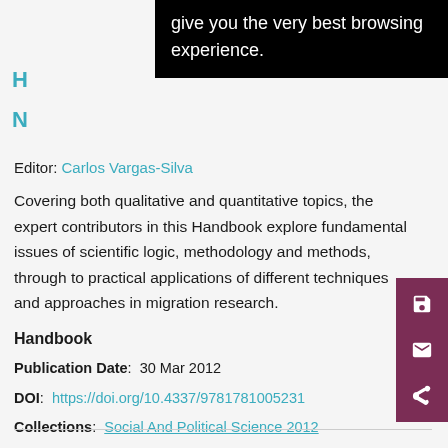give you the very best browsing experience.
Editor: Carlos Vargas-Silva
Covering both qualitative and quantitative topics, the expert contributors in this Handbook explore fundamental issues of scientific logic, methodology and methods, through to practical applications of different techniques and approaches in migration research.
Handbook
Publication Date:  30 Mar 2012
DOI:  https://doi.org/10.4337/9781781005231
Collections:  Social And Political Science 2012